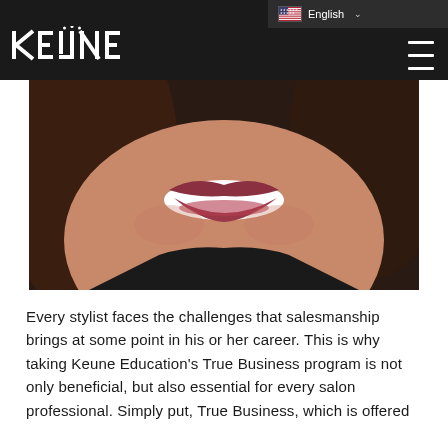English
[Figure (photo): Close-up photo of a smiling woman, showing her teeth, lips, and neck against a dark background]
Every stylist faces the challenges that salesmanship brings at some point in his or her career. This is why taking Keune Education's True Business program is not only beneficial, but also essential for every salon professional. Simply put, True Business, which is offered